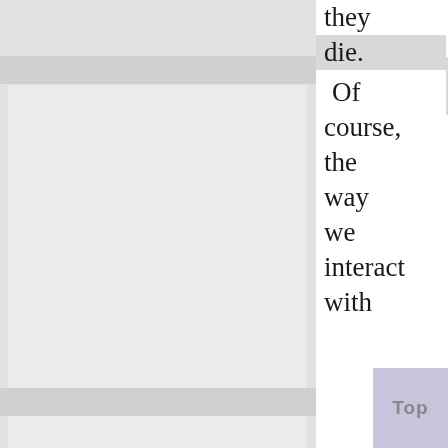[Figure (illustration): Large light gray panel on the left side of the page, appearing to be a page or book illustration with overlapping light gray rectangles and horizontal bands.]
they die. Of course, the way we interact with others has great variety, and